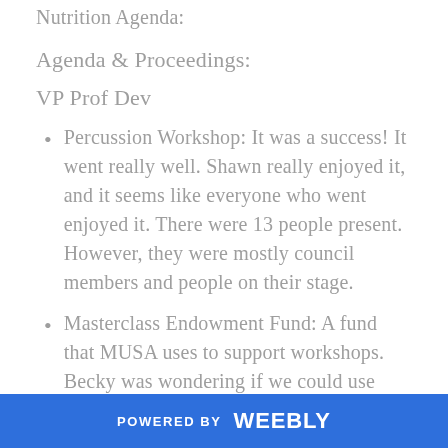Nutrition Agenda:
Agenda & Proceedings:
VP Prof Dev
Percussion Workshop: It was a success! It went really well. Shawn really enjoyed it, and it seems like everyone who went enjoyed it. There were 13 people present. However, they were mostly council members and people on their stage.
Masterclass Endowment Fund: A fund that MUSA uses to support workshops. Becky was wondering if we could use part
POWERED BY weebly